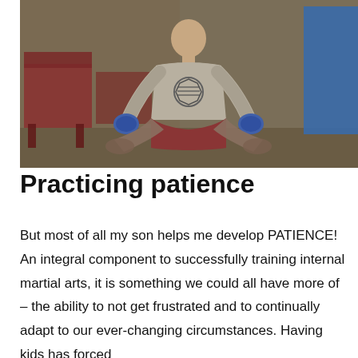[Figure (photo): A man sitting cross-legged on the floor in a meditative pose, wearing a grey t-shirt with a design on it, blue gloves on his hands resting on his knees. Red chairs visible on the left, a blue panel/wall on the right. Room has beige/tan walls.]
Practicing patience
But most of all my son helps me develop PATIENCE! An integral component to successfully training internal martial arts, it is something we could all have more of – the ability to not get frustrated and to continually adapt to our ever-changing circumstances. Having kids has forced